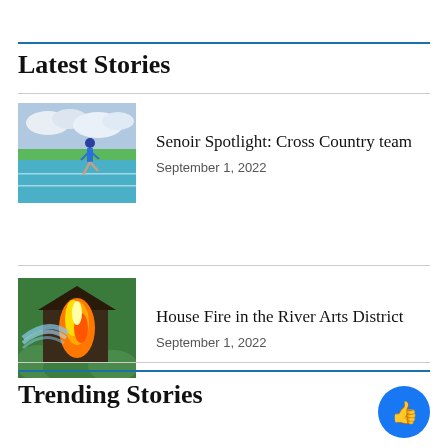Latest Stories
[Figure (photo): Female runner on a blue track with a grassy field and cloudy sky in the background]
Senoir Spotlight: Cross Country team
September 1, 2022
[Figure (photo): House on fire being sprayed with water, green bushes around]
House Fire in the River Arts District
September 1, 2022
Trending Stories